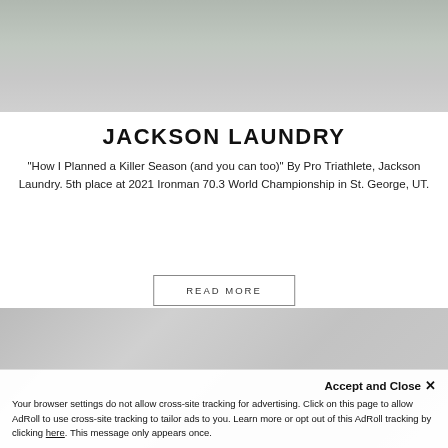[Figure (photo): Top portion of a photo showing a triathlete on a bicycle, partially cropped]
JACKSON LAUNDRY
"How I Planned a Killer Season (and you can too)" By Pro Triathlete, Jackson Laundry. 5th place at 2021 Ironman 70.3 World Championship in St. George, UT.
READ MORE
[Figure (photo): Bottom partial photo showing bicycle components, dark and light tones]
Accept and Close ✕
Your browser settings do not allow cross-site tracking for advertising. Click on this page to allow AdRoll to use cross-site tracking to tailor ads to you. Learn more or opt out of this AdRoll tracking by clicking here. This message only appears once.